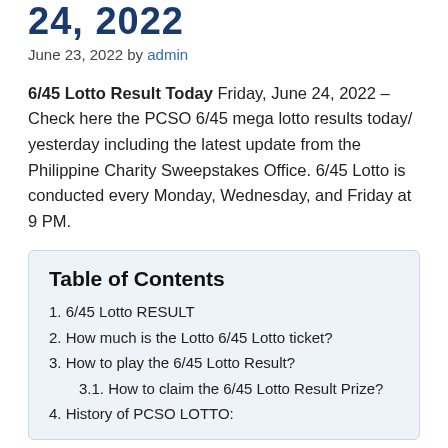6/45 Lotto Result Today – 6/45 Mega Lotto Result June 24, 2022
June 23, 2022 by admin
6/45 Lotto Result Today Friday, June 24, 2022 – Check here the PCSO 6/45 mega lotto results today/ yesterday including the latest update from the Philippine Charity Sweepstakes Office. 6/45 Lotto is conducted every Monday, Wednesday, and Friday at 9 PM.
Table of Contents
1. 6/45 Lotto RESULT
2. How much is the Lotto 6/45 Lotto ticket?
3. How to play the 6/45 Lotto Result?
3.1. How to claim the 6/45 Lotto Result Prize?
4. History of PCSO LOTTO: